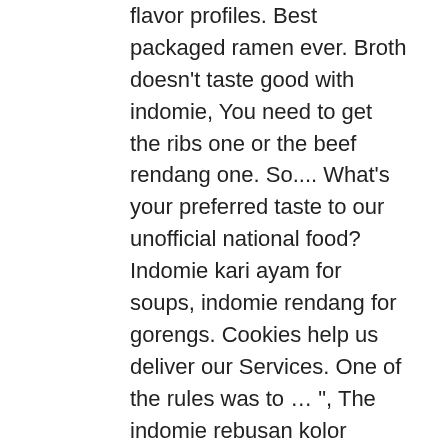flavor profiles. Best packaged ramen ever. Broth doesn't taste good with indomie, You need to get the ribs one or the beef rendang one. So.... What's your preferred taste to our unofficial national food? Indomie kari ayam for soups, indomie rendang for gorengs. Cookies help us deliver our Services. One of the rules was to … ", The indomie rebusan kolor bekas i got during high school hazing would be an exception to rule 1. 1. Don't tell me people here have never tasted Chicken Onion Flavor (Rasa Ayam Bawang). £16.00. To get started with this particular recipe, we have to first prepare a few ingredients. I keep hearing people complain about this one. Our noodles are made from carefully selected ingredients, the best quality flour and fresh spices from the natural resources of Indonesia giving it a unique and delicious taste.. Indomie comes in many different varieties, the most popular is Mi Goreng. Press question mark to learn the rest of the keyboard shortcuts. Though too much of it caused me to eventually hate it. Special chicken all the way (the orange one), YES.. Strain all the fkin water out. Updated Apr 30, 2020; Posted Apr 30, 2020 . The classic one is always a special one. The powder is blended quite well. I even won a